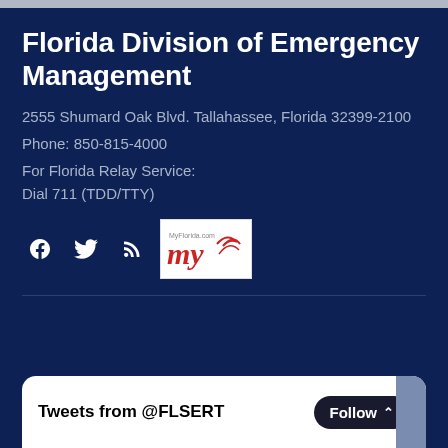Florida Division of Emergency Management
2555 Shumard Oak Blvd. Tallahassee, Florida 32399-2100
Phone: 850-815-4000
For Florida Relay Service:
Dial 711 (TDD/TTY)
[Figure (logo): Social media icons: Facebook, Twitter, RSS feed, and MyFlorida.com logo]
Tweets from @FLSERT